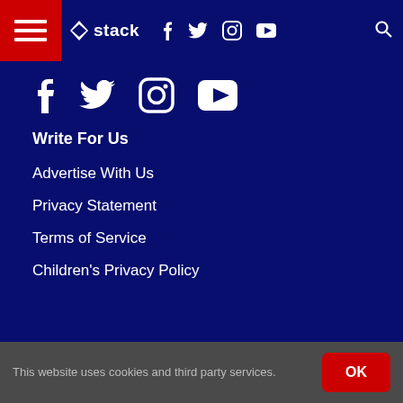Stack navigation bar with hamburger menu, Stack logo, social icons (Facebook, Twitter, Instagram, YouTube), and search icon
[Figure (screenshot): Social media icons row: Facebook, Twitter, Instagram, YouTube on dark blue background]
Write For Us
Advertise With Us
Privacy Statement
Terms of Service
Children's Privacy Policy
This website uses cookies and third party services.